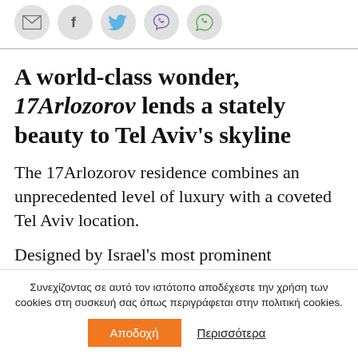[Figure (other): Row of social share icon buttons: email (envelope), Facebook, Twitter, Viber, WhatsApp — each in a grey circle]
A world-class wonder, 17Arlozorov lends a stately beauty to Tel Aviv's skyline
The 17Arlozorov residence combines an unprecedented level of luxury with a coveted Tel Aviv location.
Designed by Israel's most prominent
Συνεχίζοντας σε αυτό τον ιστότοπο αποδέχεστε την χρήση των cookies στη συσκευή σας όπως περιγράφεται στην πολιτική cookies.
Αποδοχή   Περισσότερα